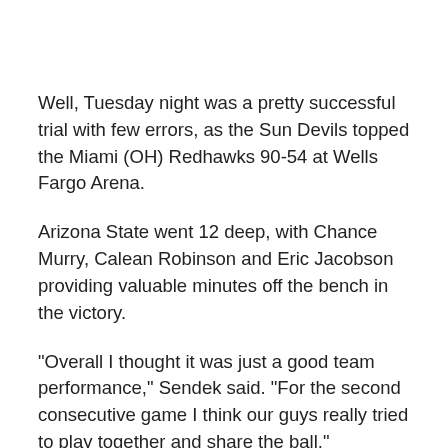Well, Tuesday night was a pretty successful trial with few errors, as the Sun Devils topped the Miami (OH) Redhawks 90-54 at Wells Fargo Arena.
Arizona State went 12 deep, with Chance Murry, Calean Robinson and Eric Jacobson providing valuable minutes off the bench in the victory.
"Overall I thought it was just a good team performance," Sendek said. "For the second consecutive game I think our guys really tried to play together and share the ball."
The Sun Devils finished with 26 assists on 35 made field goals against the Redhawks, shooting 55.6...